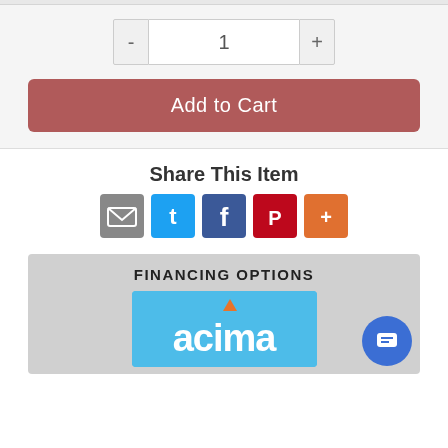[Figure (screenshot): E-commerce product page section with quantity selector showing minus button, input field with value 1, and plus button]
[Figure (infographic): Add to Cart button in muted red/rose color]
Share This Item
[Figure (infographic): Social share icons: email (gray), Twitter (blue), Facebook (dark blue), Pinterest (red), More (orange)]
[Figure (infographic): Financing Options section with Acima logo on light blue background and a chat bubble icon]